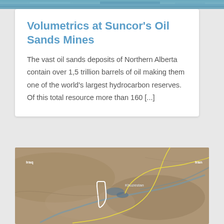[Figure (photo): Satellite/aerial photograph strip at the top of the page, showing blue-toned landscape (water/terrain)]
Volumetrics at Suncor’s Oil Sands Mines
The vast oil sands deposits of Northern Alberta contain over 1,5 trillion barrels of oil making them one of the world’s largest hydrocarbon reserves. Of this total resource more than 160 […]
[Figure (map): Satellite map showing the Khuzestan region with yellow border lines marking Iraq and Iran borders, and a white outlined area indicating a specific zone. Labels visible: Iraq, Iran, Khuzestan.]